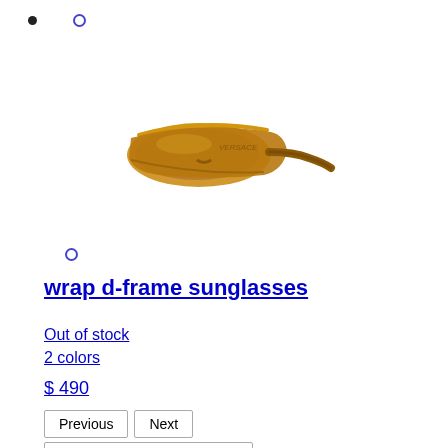[Figure (photo): Side view of gold/brown wrap d-frame sunglasses against white background]
wrap d-frame sunglasses
Out of stock
2 colors
$ 490
Previous  Next  U - wrap d-frame sunglasses